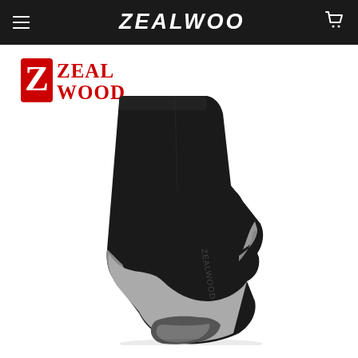Zealwood navigation bar with hamburger menu and cart icon
[Figure (logo): Zealwood brand logo - red and white stylized Z icon with ZEALWOOD text in red graffiti style]
[Figure (photo): Black athletic/running crew sock with grey cushioning on heel and toe areas, shown at an angle on white background. Brand name visible on side.]